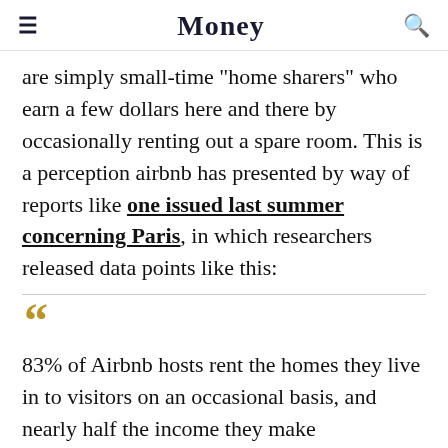Money
are simply small-time "home sharers" who earn a few dollars here and there by occasionally renting out a spare room. This is a perception airbnb has presented by way of reports like one issued last summer concerning Paris, in which researchers released data points like this:
83% of Airbnb hosts rent the homes they live in to visitors on an occasional basis, and nearly half the income they make